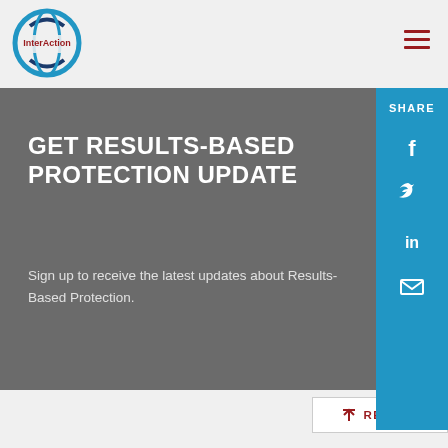[Figure (logo): InterAction logo with blue circular globe design and dark red text]
GET RESULTS-BASED PROTECTION UPDATE
Sign up to receive the latest updates about Results-Based Protection.
[Figure (infographic): Social share sidebar with SHARE label and Facebook, Twitter, LinkedIn, Email icons in blue]
RETURN